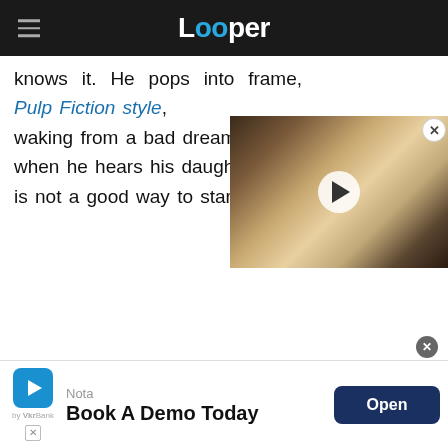Looper
knows it. He pops into frame, Pulp Fiction style, waking from a bad dream. T when he hears his daughter is not a good way to start th
[Figure (screenshot): Video thumbnail showing a man with a surprised expression, with a play button overlay]
Nota
Book A Demo Today
Open